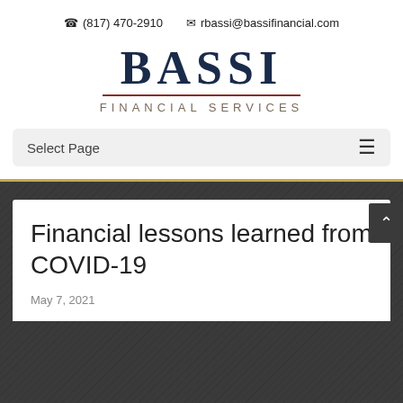✆ (817) 470-2910   ✉ rbassi@bassifinancial.com
[Figure (logo): Bassi Financial Services logo with large dark navy BASSI text, a red divider line, and FINANCIAL SERVICES in spaced gray uppercase letters below]
Select Page
Financial lessons learned from COVID-19
May 7, 2021